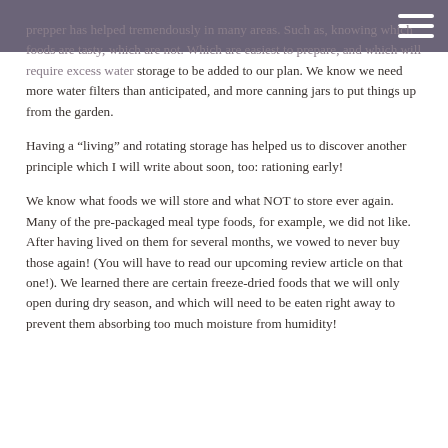prepper has helped tremendously in many areas. Such as, knowing which foods are tasty, which are not. Which are easiest to prepare, and which will require excess water storage to be added to our plan. We know we need more water filters than anticipated, and more canning jars to put things up from the garden.
Having a “living” and rotating storage has helped us to discover another principle which I will write about soon, too: rationing early!
We know what foods we will store and what NOT to store ever again. Many of the pre-packaged meal type foods, for example, we did not like. After having lived on them for several months, we vowed to never buy those again! (You will have to read our upcoming review article on that one!). We learned there are certain freeze-dried foods that we will only open during dry season, and which will need to be eaten right away to prevent them absorbing too much moisture from humidity!